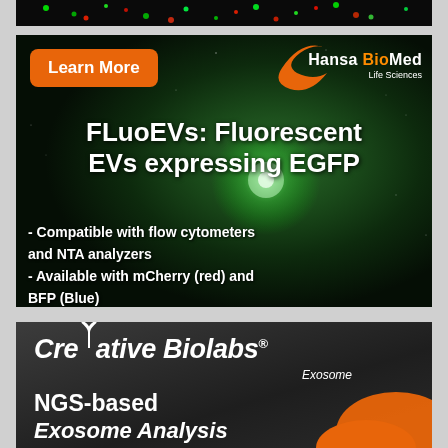[Figure (photo): Partial view of fluorescent microscopy image showing green and red dots on dark background]
[Figure (infographic): HansaBioMed Life Sciences advertisement for FLuoEVs: Fluorescent EVs expressing EGFP. Dark starfield background with glowing green particle. Orange 'Learn More' button top left, HansaBioMed logo top right with orange swoosh icon. Title text in bold white: FLuoEVs: Fluorescent EVs expressing EGFP. Bullet points: Compatible with flow cytometers and NTA analyzers; Available with mCherry (red) and BFP (Blue)]
[Figure (logo): Creative Biolabs Exosome logo and NGS-based Exosome Analysis advertisement on dark gray background with orange graphic element]